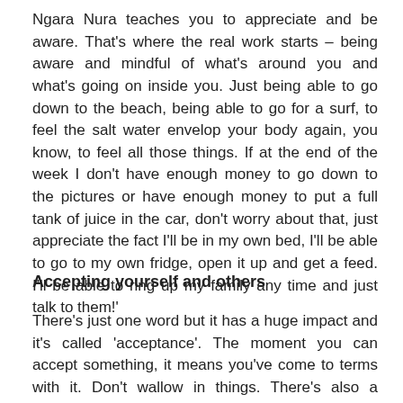Ngara Nura teaches you to appreciate and be aware. That's where the real work starts – being aware and mindful of what's around you and what's going on inside you. Just being able to go down to the beach, being able to go for a surf, to feel the salt water envelop your body again, you know, to feel all those things. If at the end of the week I don't have enough money to go down to the pictures or have enough money to put a full tank of juice in the car, don't worry about that, just appreciate the fact I'll be in my own bed, I'll be able to go to my own fridge, open it up and get a feed. I'll be able to ring up my family any time and just talk to them!'
Accepting yourself and others
There's just one word but it has a huge impact and it's called 'acceptance'. The moment you can accept something, it means you've come to terms with it. Don't wallow in things. There's also a saying in the fellowship, 'A problem shared is a problem halved'. When you've talked about something (to